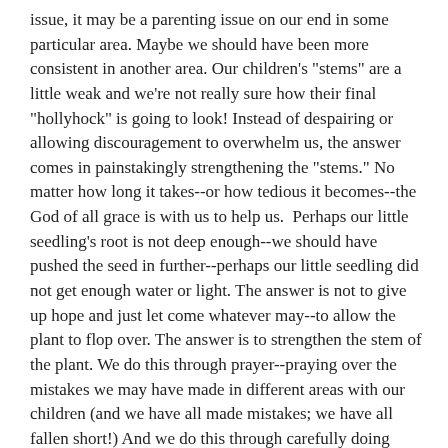issue, it may be a parenting issue on our end in some particular area. Maybe we should have been more consistent in another area. Our children's "stems" are a little weak and we're not really sure how their final "hollyhock" is going to look! Instead of despairing or allowing discouragement to overwhelm us, the answer comes in painstakingly strengthening the "stems." No matter how long it takes--or how tedious it becomes--the God of all grace is with us to help us.  Perhaps our little seedling's root is not deep enough--we should have pushed the seed in further--perhaps our little seedling did not get enough water or light. The answer is not to give up hope and just let come whatever may--to allow the plant to flop over. The answer is to strengthen the stem of the plant. We do this through prayer--praying over the mistakes we may have made in different areas with our children (and we have all made mistakes; we have all fallen short!) And we do this through carefully doing right in those areas that the Lord has shown us we need to work on. Day by day. Moment by moment. Dealing with the issues--not ignoring them--strengthening the stem. Pushing the rich soil of consistency around the base of the stem. Praying to the Lord to strengthen the little plants and being faithful. The Lord will bless us and our children if we truly want them to love the Lord with all of their hearts and to grow in His ways. He is a God of grace and